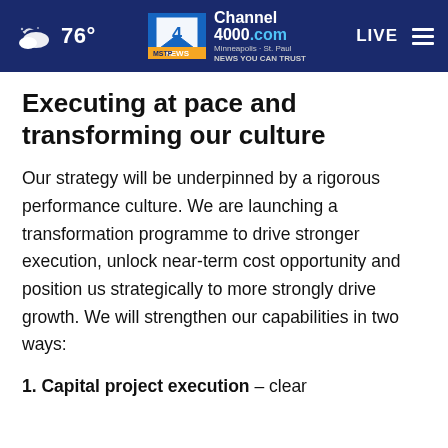76° Channel 4000.com Minneapolis · St. Paul NEWS YOU CAN TRUST LIVE
Executing at pace and transforming our culture
Our strategy will be underpinned by a rigorous performance culture. We are launching a transformation programme to drive stronger execution, unlock near-term cost opportunity and position us strategically to more strongly drive growth. We will strengthen our capabilities in two ways:
1. Capital project execution – clear